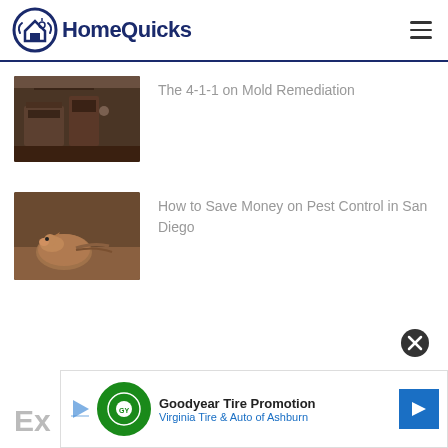HomeQuicks
[Figure (photo): Dark wooden furniture/boxes in a grungy room]
The 4-1-1 on Mold Remediation
[Figure (photo): A brown mouse on a wooden surface]
How to Save Money on Pest Control in San Diego
[Figure (other): Goodyear Tire Promotion ad banner — Virginia Tire & Auto of Ashburn]